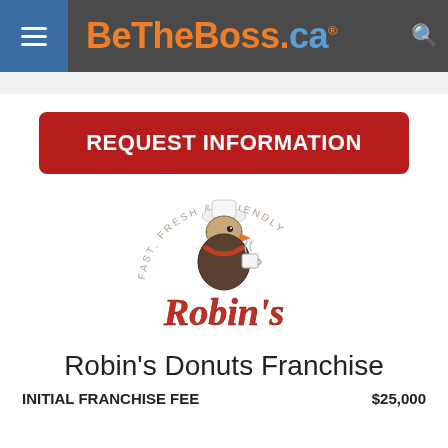BeTheBoss.ca
[Figure (other): REQUEST INFORMATION button - red rounded rectangle with white bold text]
[Figure (logo): Robin's Donuts logo featuring a robin bird chef holding a coffee cup, with arc text 'FAST, FRESH & FRIENDLY' above, and 'Robin's' text in orange/red below]
Robin's Donuts Franchise
| INITIAL FRANCHISE FEE | $25,000 |